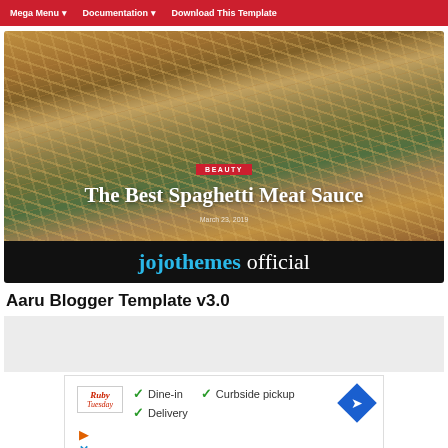Mega Menu  Documentation  Download This Template
[Figure (screenshot): Hero banner image showing spaghetti meat sauce dish with overlay text 'BEAUTY', 'The Best Spaghetti Meat Sauce', date 'March 23, 2019', and footer bar reading 'jojothemes official']
Aaru Blogger Template v3.0
[Figure (infographic): Advertisement placeholder - gray rectangle]
[Figure (screenshot): Ad banner for Ruby Tuesday showing Dine-in, Curbside pickup, Delivery options with checkmarks and map direction icon]